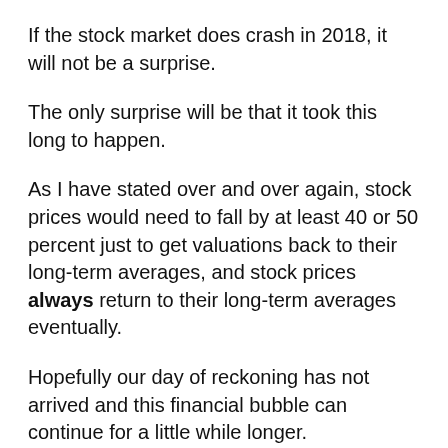If the stock market does crash in 2018, it will not be a surprise.
The only surprise will be that it took this long to happen.
As I have stated over and over again, stock prices would need to fall by at least 40 or 50 percent just to get valuations back to their long-term averages, and stock prices always return to their long-term averages eventually.
Hopefully our day of reckoning has not arrived and this financial bubble can continue for a little while longer.
But if financial markets do begin to crash horribly this year, nobody will be able to say